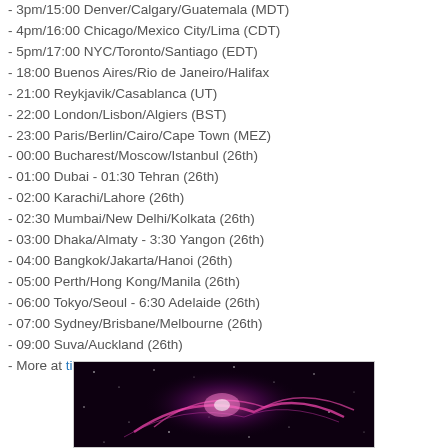- 3pm/15:00 Denver/Calgary/Guatemala (MDT)
- 4pm/16:00 Chicago/Mexico City/Lima (CDT)
- 5pm/17:00 NYC/Toronto/Santiago (EDT)
- 18:00 Buenos Aires/Rio de Janeiro/Halifax
- 21:00 Reykjavik/Casablanca (UT)
- 22:00 London/Lisbon/Algiers (BST)
- 23:00 Paris/Berlin/Cairo/Cape Town (MEZ)
- 00:00 Bucharest/Moscow/Istanbul (26th)
- 01:00 Dubai - 01:30 Tehran (26th)
- 02:00 Karachi/Lahore (26th)
- 02:30 Mumbai/New Delhi/Kolkata (26th)
- 03:00 Dhaka/Almaty - 3:30 Yangon (26th)
- 04:00 Bangkok/Jakarta/Hanoi (26th)
- 05:00 Perth/Hong Kong/Manila (26th)
- 06:00 Tokyo/Seoul - 6:30 Adelaide (26th)
- 07:00 Sydney/Brisbane/Melbourne (26th)
- 09:00 Suva/Auckland (26th)
- More at timeanddate.com/s/41rd
[Figure (photo): Space/nebula image with pink and magenta light streaks against a dark starry background]